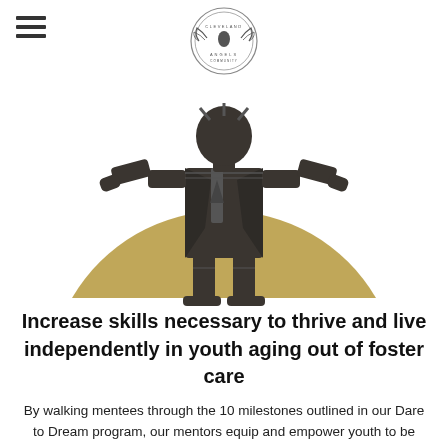[Figure (logo): Cleveland Angels community circular logo with eagle wings]
[Figure (illustration): A stylized icon of a person in formal attire (suit and tie) standing in front of a large gold semicircle, rendered in dark charcoal lines on white background]
Increase skills necessary to thrive and live independently in youth aging out of foster care
By walking mentees through the 10 milestones outlined in our Dare to Dream program, our mentors equip and empower youth to be prepared for independent living and reach their fullest potential. Youth are provided with the